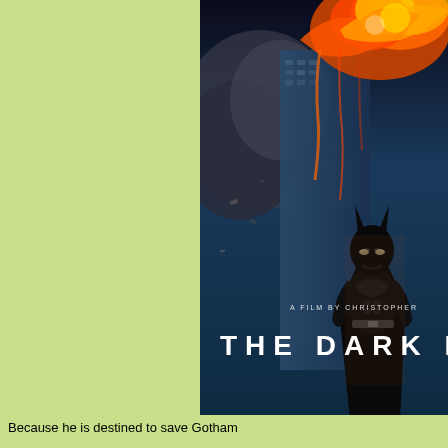[Figure (photo): The Dark Knight movie poster showing Batman in armor suit standing in front of a burning building shaped like a bat symbol. Text on poster reads 'A FILM BY CHRISTOPHER' and 'THE DARK K' (partially cropped). Dark blue and orange color scheme with dramatic lighting.]
Because he is destined to save Gotham